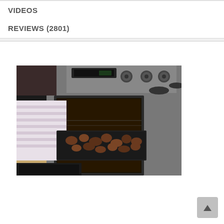VIDEOS
REVIEWS (2801)
[Figure (photo): A woman in a striped long-sleeve shirt placing or removing a baking tray of roasted food (appears to be chicken pieces) from a stainless steel gas range/oven using oven mitts. The oven has digital controls and knobs visible at the top.]